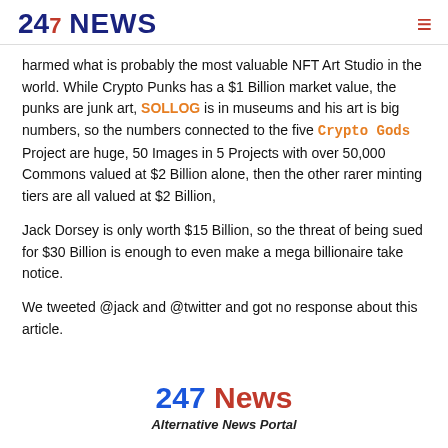247 NEWS
harmed what is probably the most valuable NFT Art Studio in the world. While Crypto Punks has a $1 Billion market value, the punks are junk art, SOLLOG is in museums and his art is big numbers, so the numbers connected to the five Crypto Gods Project are huge, 50 Images in 5 Projects with over 50,000 Commons valued at $2 Billion alone, then the other rarer minting tiers are all valued at $2 Billion,
Jack Dorsey is only worth $15 Billion, so the threat of being sued for $30 Billion is enough to even make a mega billionaire take notice.
We tweeted @jack and @twitter and got no response about this article.
247 News
Alternative News Portal